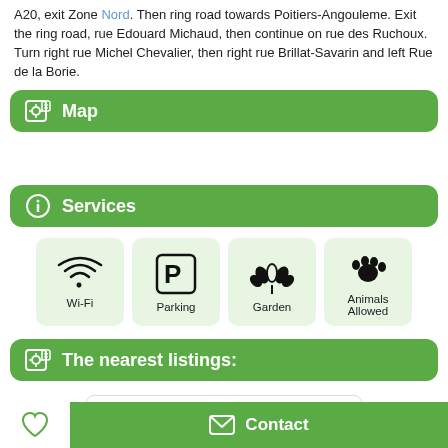A20, exit Zone Nord. Then ring road towards Poitiers-Angouleme. Exit the ring road, rue Edouard Michaud, then continue on rue des Ruchoux.
Turn right rue Michel Chevalier, then right rue Brillat-Savarin and left Rue de la Borie.
Map
Services
[Figure (infographic): Four service icons: Wi-Fi, Parking, Garden, Animals Allowed]
The nearest listings:
9.0km   €56 per night
Contact